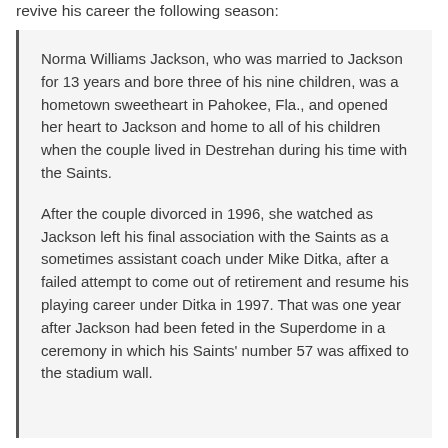revive his career the following season:
Norma Williams Jackson, who was married to Jackson for 13 years and bore three of his nine children, was a hometown sweetheart in Pahokee, Fla., and opened her heart to Jackson and home to all of his children when the couple lived in Destrehan during his time with the Saints.
After the couple divorced in 1996, she watched as Jackson left his final association with the Saints as a sometimes assistant coach under Mike Ditka, after a failed attempt to come out of retirement and resume his playing career under Ditka in 1997. That was one year after Jackson had been feted in the Superdome in a ceremony in which his Saints' number 57 was affixed to the stadium wall.